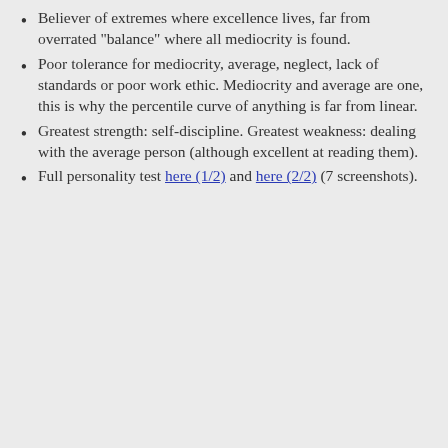Believer of extremes where excellence lives, far from overrated "balance" where all mediocrity is found.
Poor tolerance for mediocrity, average, neglect, lack of standards or poor work ethic. Mediocrity and average are one, this is why the percentile curve of anything is far from linear.
Greatest strength: self-discipline. Greatest weakness: dealing with the average person (although excellent at reading them).
Full personality test here (1/2) and here (2/2) (7 screenshots).